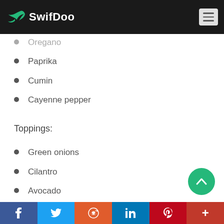SwifDoo
Oregano
Paprika
Cumin
Cayenne pepper
Toppings:
Green onions
Cilantro
Avocado
Fresh tomatoes
Jalapeno
Salsa
f  Twitter  Reddit  in  Pinterest  +